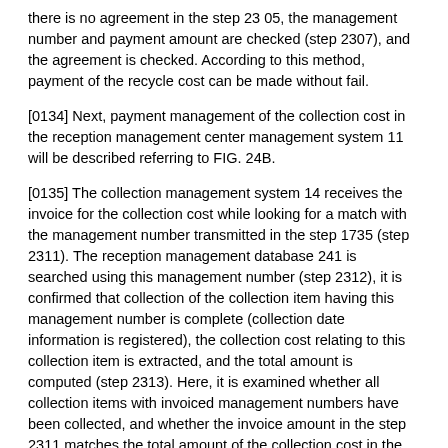there is no agreement in the step 23 05, the management number and payment amount are checked (step 2307), and the agreement is checked. According to this method, payment of the recycle cost can be made without fail.
[0134] Next, payment management of the collection cost in the reception management center management system 11 will be described referring to FIG. 24B.
[0135] The collection management system 14 receives the invoice for the collection cost while looking for a match with the management number transmitted in the step 1735 (step 2311). The reception management database 241 is searched using this management number (step 2312), it is confirmed that collection of the collection item having this management number is complete (collection date information is registered), the collection cost relating to this collection item is extracted, and the total amount is computed (step 2313). Here, it is examined whether all collection items with invoiced management numbers have been collected, and whether the invoice amount in the step 2311 matches the total amount of the collection cost in the step 2313 (step 2314). When they match, the collection cost is transferred (step 2315), and the transferred date is registered in the reception management database 241 as collection cost transfer complete information (step 2316). In the step 2314, if any of the collection items were not collected, or if the total amount of the collection cost did not match, this